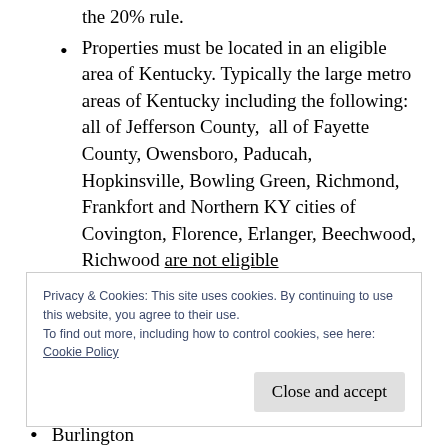the 20% rule.
Properties must be located in an eligible area of Kentucky. Typically the large metro areas of Kentucky including the following: all of Jefferson County, all of Fayette County, Owensboro, Paducah, Hopkinsville, Bowling Green, Richmond, Frankfort and Northern KY cities of Covington, Florence, Erlanger, Beechwood, Richwood are not eligible
Privacy & Cookies: This site uses cookies. By continuing to use this website, you agree to their use.
To find out more, including how to control cookies, see here: Cookie Policy
Close and accept
Burlington